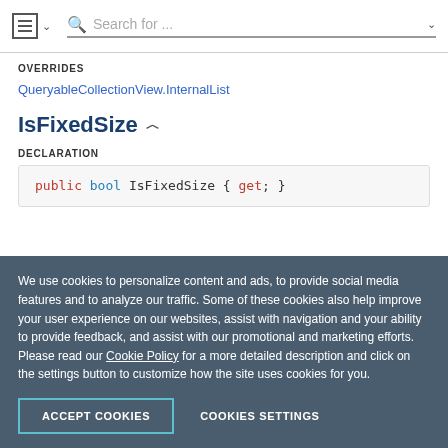Search for ...
OVERRIDES
QueryableCollectionView.InternalList
IsFixedSize
DECLARATION
public bool IsFixedSize { get; }
We use cookies to personalize content and ads, to provide social media features and to analyze our traffic. Some of these cookies also help improve your user experience on our websites, assist with navigation and your ability to provide feedback, and assist with our promotional and marketing efforts. Please read our Cookie Policy for a more detailed description and click on the settings button to customize how the site uses cookies for you.
ACCEPT COOKIES
COOKIES SETTINGS